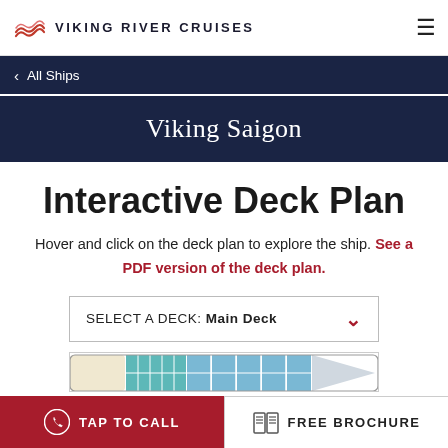VIKING RIVER CRUISES
< All Ships
Viking Saigon
Interactive Deck Plan
Hover and click on the deck plan to explore the ship. See a PDF version of the deck plan.
SELECT A DECK: Main Deck
[Figure (schematic): Partial ship deck plan preview showing main deck layout with color-coded cabin sections]
TAP TO CALL
FREE BROCHURE